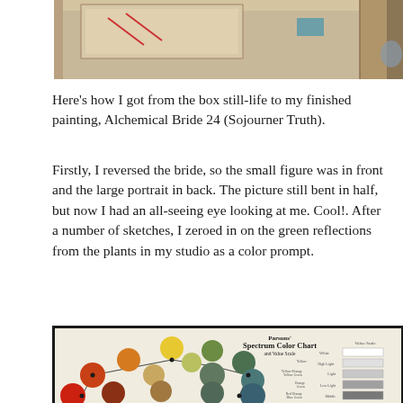[Figure (photo): Top portion of a photograph showing a still-life setup with a box and art materials on a wooden surface, partially cropped.]
Here’s how I got from the box still-life to my finished painting, Alchemical Bride 24 (Sojourner Truth).
Firstly, I reversed the bride, so the small figure was in front and the large portrait in back. The picture still bent in half, but now I had an all-seeing eye looking at me. Cool!. After a number of sketches, I zeroed in on the green reflections from the plants in my studio as a color prompt.
[Figure (photo): Parsons’ Spectrum Color Chart and Value Scale showing colored circles (red, orange, yellow, yellow-green, green, blue-green) arranged in a pattern with connecting lines, and a value scale on the right side ranging from White through High Light, Light, Low Light, to Middle.]